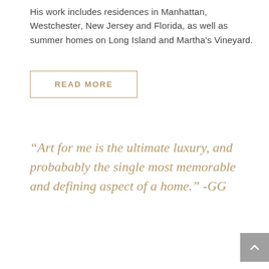His work includes residences in Manhattan, Westchester, New Jersey and Florida, as well as summer homes on Long Island and Martha's Vineyard.
READ MORE
“Art for me is the ultimate luxury, and probabably the single most memorable and defining aspect of a home.” -GG